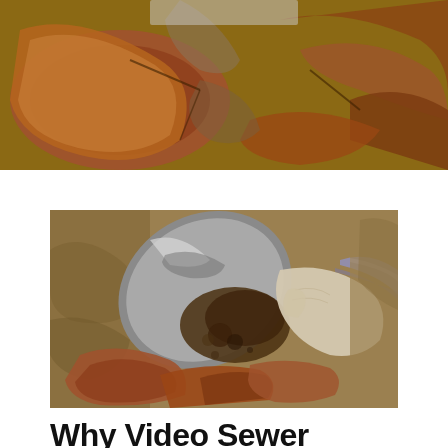[Figure (photo): Aerial/close-up view of broken terracotta/clay sewer pipe pieces embedded in dirt and soil, showing cracked and fragmented sections of old pipe.]
[Figure (photo): A gloved hand using a shovel to dig into soil, revealing broken terracotta/clay sewer pipe sections below. The worker is scooping dark soil from around the damaged pipes.]
Why Video Sewer